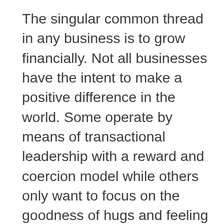The singular common thread in any business is to grow financially. Not all businesses have the intent to make a positive difference in the world. Some operate by means of transactional leadership with a reward and coercion model while others only want to focus on the goodness of hugs and feeling like they made a “difference” in the world. The first model mentioned above has its place in such industries that are considered evergreen but the question is, can they gain even more market share if they incorporated a more refined strategy?